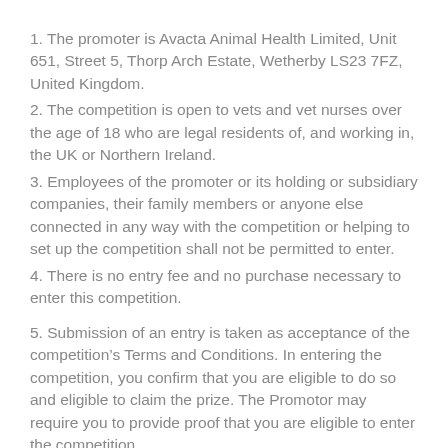1. The promoter is Avacta Animal Health Limited, Unit 651, Street 5, Thorp Arch Estate, Wetherby LS23 7FZ, United Kingdom.
2. The competition is open to vets and vet nurses over the age of 18 who are legal residents of, and working in, the UK or Northern Ireland.
3. Employees of the promoter or its holding or subsidiary companies, their family members or anyone else connected in any way with the competition or helping to set up the competition shall not be permitted to enter.
4. There is no entry fee and no purchase necessary to enter this competition.
5. Submission of an entry is taken as acceptance of the competition’s Terms and Conditions. In entering the competition, you confirm that you are eligible to do so and eligible to claim the prize. The Promotor may require you to provide proof that you are eligible to enter the competition.